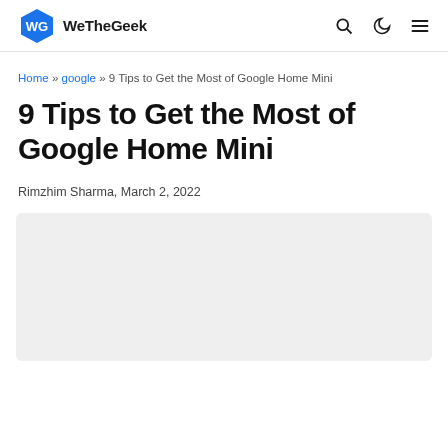WeTheGeek
Home » google » 9 Tips to Get the Most of Google Home Mini
9 Tips to Get the Most of Google Home Mini
Rimzhim Sharma, March 2, 2022
[Figure (other): Light grey rectangular image placeholder area]